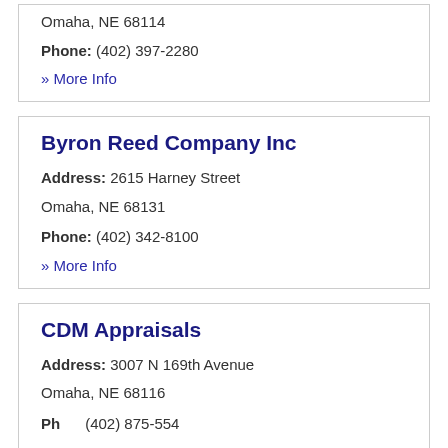Omaha, NE 68114
Phone: (402) 397-2280
» More Info
Byron Reed Company Inc
Address: 2615 Harney Street
Omaha, NE 68131
Phone: (402) 342-8100
» More Info
CDM Appraisals
Address: 3007 N 169th Avenue
Omaha, NE 68116
Phone: (402) 875-5548